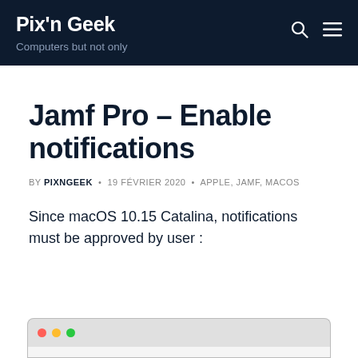Pix'n Geek – Computers but not only
Jamf Pro – Enable notifications
BY PIXNGEEK • 19 FÉVRIER 2020 • APPLE, JAMF, MACOS
Since macOS 10.15 Catalina, notifications must be approved by user :
[Figure (screenshot): Screenshot of macOS notification settings window, partially visible at bottom of page]